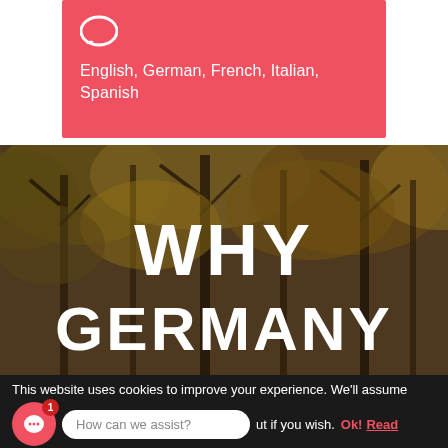[Figure (infographic): Pink/red card with speech bubble icon and languages listed: English, German, French, Italian, Spanish]
English, German, French, Italian, Spanish
[Figure (photo): Autumn forest with trees and foliage in yellows and browns, overlaid with bold white text WHY GERMANY]
WHY GERMANY
This website uses cookies to improve your experience. We'll assume
How can we assist?
ut if you wish.
Ok!
Read
More +